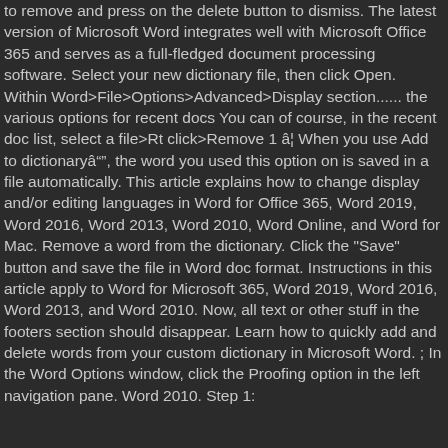to remove and press on the delete button to dismiss. The latest version of Microsoft Word integrates well with Microsoft Office 365 and serves as a full-fledged document processing software. Select your new dictionary file, then click Open. Within Word>File>Options>Advanced>Display section...... the various options for recent docs You can of course, in the recent doc list, select a file>Rt click>Remove 1 â¦ When you use Add to dictionaryâ€‹‹, the word you used this option on is saved in a file automatically. This article explains how to change display and/or editing languages in Word for Office 365, Word 2019, Word 2016, Word 2013, Word 2010, Word Online, and Word for Mac. Remove a word from the dictionary. Click the "Save" button and save the file in Word doc format. Instructions in this article apply to Word for Microsoft 365, Word 2019, Word 2016, Word 2013, and Word 2010. Now, all text or other stuff in the footers section should disappear. Learn how to quickly add and delete words from your custom dictionary in Microsoft Word. ; In the Word Options window, click the Proofing option in the left navigation pane. Word 2010. Step 1: